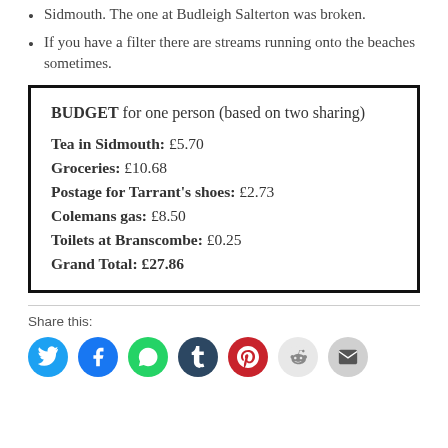Sidmouth. The one at Budleigh Salterton was broken.
If you have a filter there are streams running onto the beaches sometimes.
| BUDGET for one person (based on two sharing) |
| Tea in Sidmouth: £5.70 |
| Groceries: £10.68 |
| Postage for Tarrant's shoes: £2.73 |
| Colemans gas: £8.50 |
| Toilets at Branscombe: £0.25 |
| Grand Total: £27.86 |
Share this: